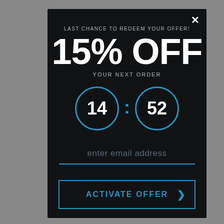LAST CHANCE TO REDEEM YOUR OFFER!
15% OFF
YOUR NEXT ORDER
[Figure (infographic): Countdown timer showing 14:52 with two blue-bordered circles containing the numbers 14 and 52 separated by a blue colon]
enter email address
ACTIVATE OFFER